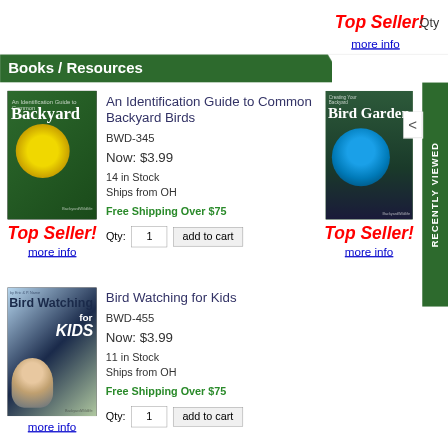Top Seller!
Qty
more info
Books / Resources
[Figure (photo): Book cover: An Identification Guide to Common Backyard Birds, showing a yellow finch]
An Identification Guide to Common Backyard Birds
BWD-345
Now: $3.99
14 in Stock
Ships from OH
Free Shipping Over $75
Qty: 1   add to cart
Top Seller!
more info
[Figure (photo): Book cover: Creating Your Backyard Bird Garden, showing a blue bird]
Cr...
BW...
No...
5 i...
Top Seller!
more info
[Figure (photo): Book cover: Bird Watching for Kids, showing children with binoculars]
Bird Watching for Kids
BWD-455
Now: $3.99
11 in Stock
Ships from OH
Free Shipping Over $75
Qty: 1   add to cart
more info